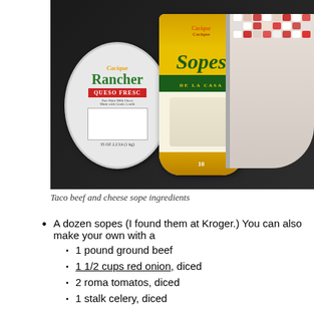[Figure (photo): Photo of Cacique Ranchero Queso Fresco cheese package, Cacique Sopes De La Casa package, and a metal bowl with diced ingredients on a dark countertop.]
Taco beef and cheese sope ingredients
A dozen sopes (I found them at Kroger.) You can also make your own with a
1 pound ground beef
1 1/2 cups red onion, diced
2 roma tomatos, diced
1 stalk celery, diced